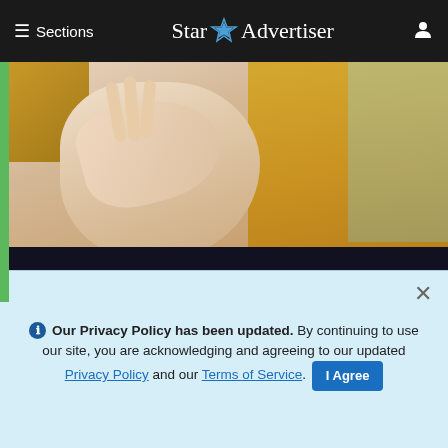≡ Sections | Star Advertiser
[Figure (photo): Close-up photo of a blonde woman touching her eye with her hand, wearing a dark top, with a green bar on the left side]
Reverse Macular Degeneration (See How).
Macular Degeneration | Sponsored
[Figure (photo): Two side-by-side images: left shows a person wearing a white captain's hat against a blue background; right shows a young woman against a blue background]
ℹ Our Privacy Policy has been updated. By continuing to use our site, you are acknowledging and agreeing to our updated Privacy Policy and our Terms of Service. I Agree